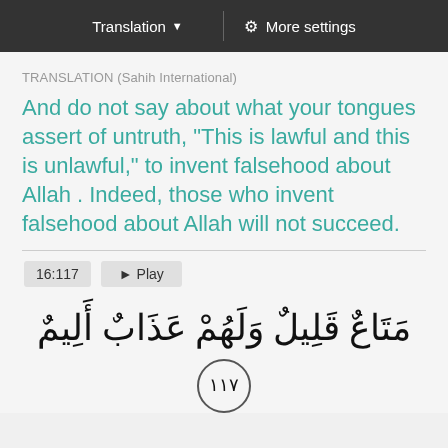Translation ▼  |  ⚙ More settings
TRANSLATION (Sahih International)
And do not say about what your tongues assert of untruth, "This is lawful and this is unlawful," to invent falsehood about Allah . Indeed, those who invent falsehood about Allah will not succeed.
16:117  ▶ Play
مَتَاعٌ قَلِيلٌ وَلَهُمْ عَذَابٌ أَلِيمٌ ۝١١٧